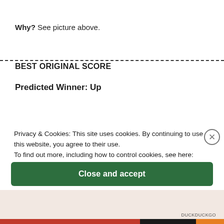Why? See picture above.
BEST ORIGINAL SCORE
Predicted Winner: Up
Privacy & Cookies: This site uses cookies. By continuing to use this website, you agree to their use.
To find out more, including how to control cookies, see here:
Cookie Policy
Close and accept